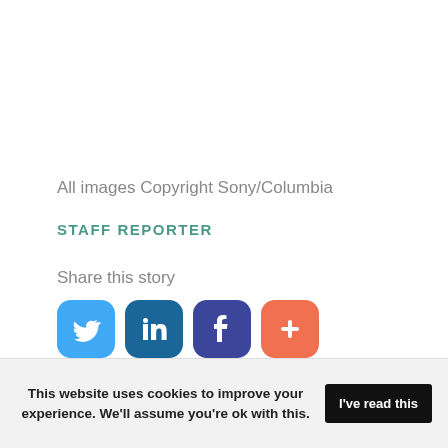All images Copyright Sony/Columbia
STAFF REPORTER
Share this story
[Figure (infographic): Four social media share buttons: Twitter (light blue), LinkedIn (dark blue), Facebook (dark navy), and a plus/more button (orange-red)]
This website uses cookies to improve your experience. We'll assume you're ok with this. I've read this